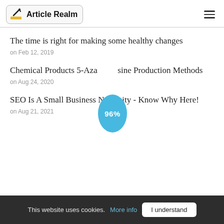Article Realm
The time is right for making some healthy changes
on Feb 12, 2019
[Figure (other): Blue oval badge with '96%' text overlapping the second article title]
Chemical Products 5-Azacitosine Production Methods
on Aug 24, 2020
SEO Is A Small Business Necessity - Know Why Here!
on Aug 21, 2021
This website uses cookies. More info  I understand